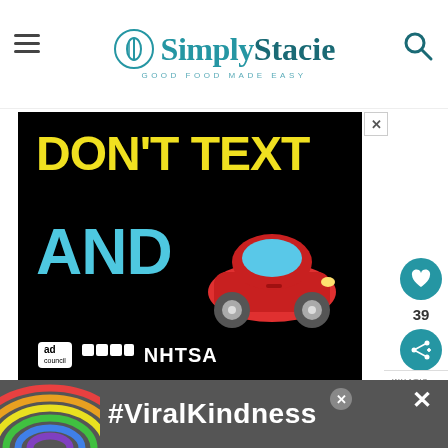Simply Stacie — GOOD FOOD MADE EASY
[Figure (infographic): Public service advertisement on black background. Large yellow bold text reads 'DON'T TEXT' and large cyan bold text reads 'AND' with a red car emoji. Bottom shows Ad Council and NHTSA logos.]
[Figure (infographic): Bottom banner advertisement with rainbow illustration and text '#ViralKindness' in white bold text on a dark background.]